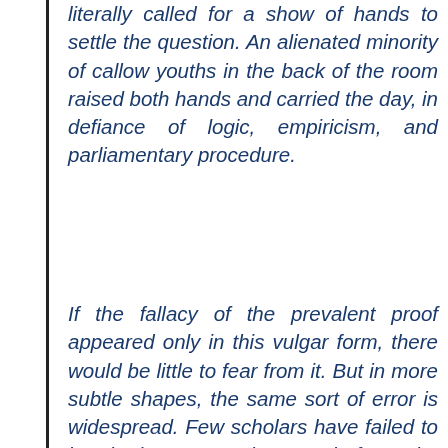literally called for a show of hands to settle the question. An alienated minority of callow youths in the back of the room raised both hands and carried the day, in defiance of logic, empiricism, and parliamentary procedure.
If the fallacy of the prevalent proof appeared only in this vulgar form, there would be little to fear from it. But in more subtle shapes, the same sort of error is widespread. Few scholars have failed to bend, in some degree, before the collective conceits of their colleagues. Many have attempted to establish a doubtful question by a